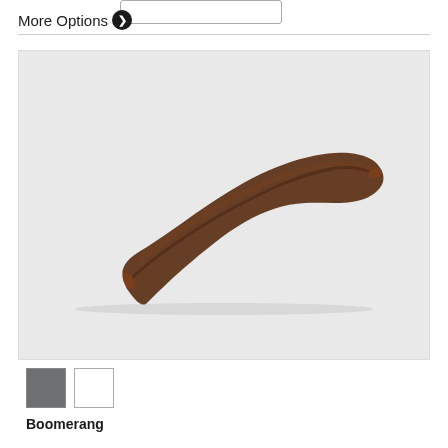More Options ❯
[Figure (photo): A wooden boomerang photographed on a light gray background. The boomerang is dark brown, curved, with pointed tips at both ends.]
[Figure (other): Two thumbnail swatches: one dark gray (selected), one white.]
Boomerang